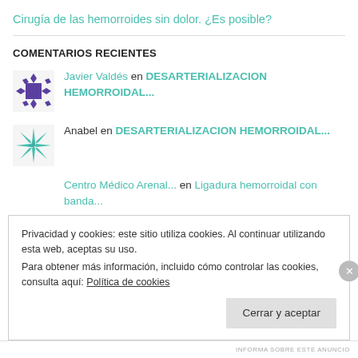Cirugía de las hemorroides sin dolor. ¿Es posible?
COMENTARIOS RECIENTES
Javier Valdés en DESARTERIALIZACION HEMORROIDAL...
Anabel en DESARTERIALIZACION HEMORROIDAL...
Centro Médico Arenal... en Ligadura hemorroidal con banda...
Privacidad y cookies: este sitio utiliza cookies. Al continuar utilizando esta web, aceptas su uso.
Para obtener más información, incluido cómo controlar las cookies, consulta aquí: Política de cookies
Cerrar y aceptar